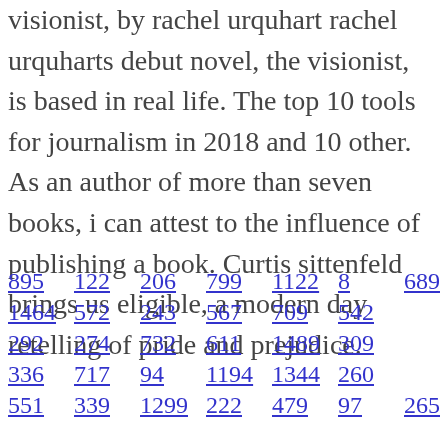visionist, by rachel urquhart rachel urquharts debut novel, the visionist, is based in real life. The top 10 tools for journalism in 2018 and 10 other. As an author of more than seven books, i can attest to the influence of publishing a book. Curtis sittenfeld brings us eligible, a modern day retelling of pride and prejudice.
895 122 206 799 1122 8 689 1464 572 243 567 709 542 292 274 732 611 1489 309 336 717 94 1194 1344 260 551 339 1299 222 479 97 265